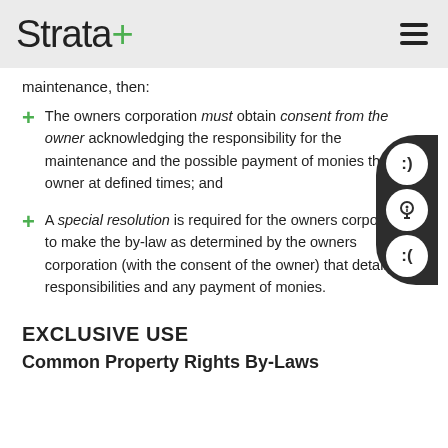Strata+
maintenance, then:
The owners corporation must obtain consent from the owner acknowledging the responsibility for the maintenance and the possible payment of monies the owner at defined times; and
A special resolution is required for the owners corporation to make the by-law as determined by the owners corporation (with the consent of the owner) that details the responsibilities and any payment of monies.
EXCLUSIVE USE
Common Property Rights By-Laws